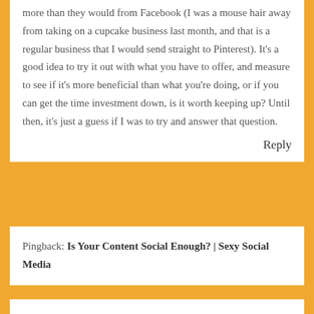more than they would from Facebook (I was a mouse hair away from taking on a cupcake business last month, and that is a regular business that I would send straight to Pinterest). It's a good idea to try it out with what you have to offer, and measure to see if it's more beneficial than what you're doing, or if you can get the time investment down, is it worth keeping up? Until then, it's just a guess if I was to try and answer that question.
Reply
Pingback: Is Your Content Social Enough? | Sexy Social Media
Pingback: How Self-Published Authors Utilize Social Media -